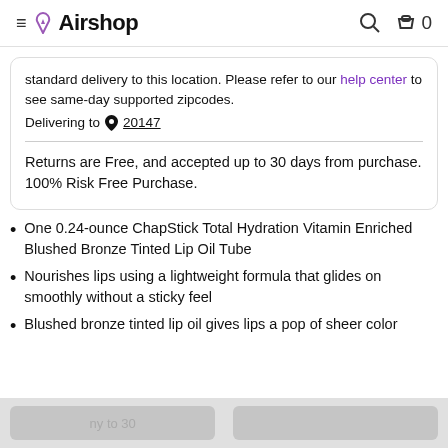≡ 🔖Airshop  🔍 🛍 0
standard delivery to this location. Please refer to our help center to see same-day supported zipcodes. Delivering to 📍 20147
Returns are Free, and accepted up to 30 days from purchase. 100% Risk Free Purchase.
One 0.24-ounce ChapStick Total Hydration Vitamin Enriched Blushed Bronze Tinted Lip Oil Tube
Nourishes lips using a lightweight formula that glides on smoothly without a sticky feel
Blushed bronze tinted lip oil gives lips a pop of sheer color